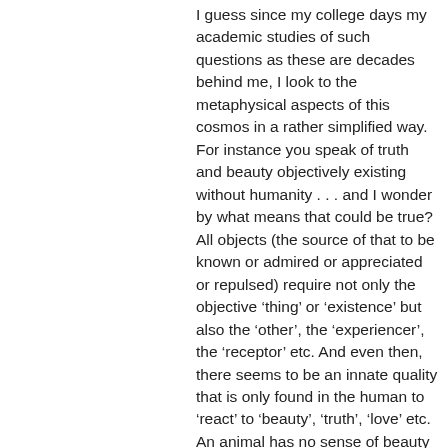I guess since my college days my academic studies of such questions as these are decades behind me, I look to the metaphysical aspects of this cosmos in a rather simplified way. For instance you speak of truth and beauty objectively existing without humanity . . . and I wonder by what means that could be true? All objects (the source of that to be known or admired or appreciated or repulsed) require not only the objective 'thing' or 'existence' but also the 'other', the 'experiencer', the 'receptor' etc. And even then, there seems to be an innate quality that is only found in the human to 'react' to 'beauty', 'truth', 'love' etc. An animal has no sense of beauty but of reactions to that which it is programmed to desire for its own survival and desires to be fulfilled.
I'm not aware that any sentient being that is not human has a sense of the I-THOU that